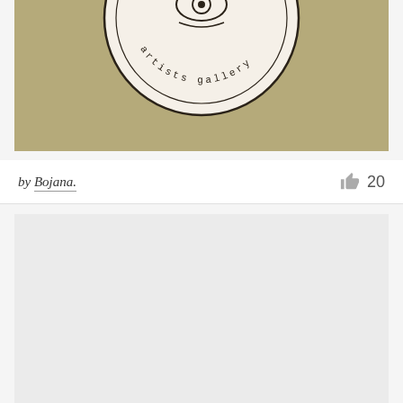[Figure (logo): Circular artists gallery logo on olive/khaki green background. The circle contains a hand-drawn style emblem with text 'artists gallery' curved along the bottom inside the circle. The background color is a muted olive-green.]
by Bojana.
20
[Figure (photo): A second image placeholder block with light gray background, appearing mostly empty/loading.]